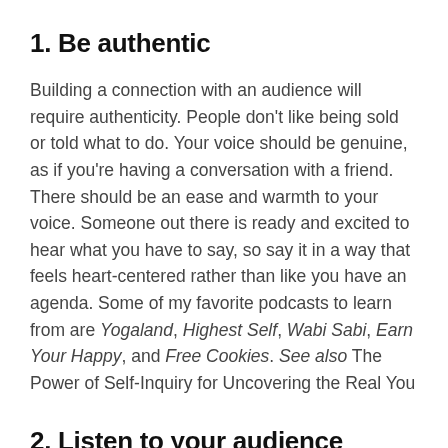1. Be authentic
Building a connection with an audience will require authenticity. People don't like being sold or told what to do. Your voice should be genuine, as if you're having a conversation with a friend. There should be an ease and warmth to your voice. Someone out there is ready and excited to hear what you have to say, so say it in a way that feels heart-centered rather than like you have an agenda. Some of my favorite podcasts to learn from are Yogaland, Highest Self, Wabi Sabi, Earn Your Happy, and Free Cookies. See also The Power of Self-Inquiry for Uncovering the Real You
2. Listen to your audience
Always invite your listeners to connect with you. Share